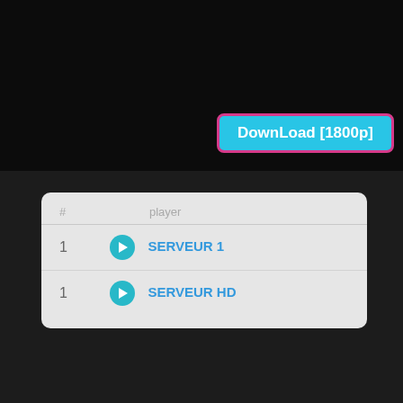[Figure (screenshot): Dark background with a blurred movie/action scene]
DownLoad [1800p]
| # | player |
| --- | --- |
| 1 | SERVEUR 1 |
| 1 | SERVEUR HD |
AE-Autoexposure Online Full Movie
Rated: ★ 3.5 out of 10 with 4 votes.
[Figure (infographic): Social share buttons: Facebook, Twitter, Google+, Email, WhatsApp, Telegram]
After a shooting assignment, Henrique is mugged by two armed motor-bikers who steal his camera